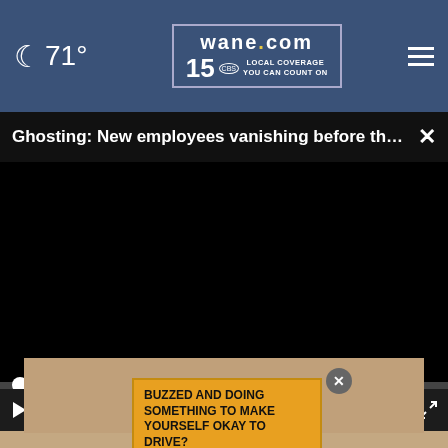🌙 71° | wane.com 15 LOCAL COVERAGE YOU CAN COUNT ON
Ghosting: New employees vanishing before they s...  ×
[Figure (screenshot): Black video player area with progress bar at bottom and playback controls: play button, mute icon, 00:00 timestamp, CC button, and fullscreen button]
[Figure (photo): Lower portion showing a person's face (eyes and forehead visible) with a yellow advertisement overlay reading 'BUZZED AND DOING SOMETHING TO MAKE YOURSELF OKAY TO DRIVE?']